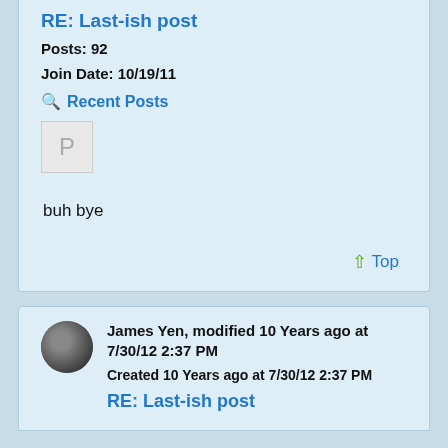RE: Last-ish post
Posts: 92
Join Date: 10/19/11
Recent Posts
[Figure (other): Placeholder avatar image with letter P]
buh bye
Top
James Yen, modified 10 Years ago at 7/30/12 2:37 PM
Created 10 Years ago at 7/30/12 2:37 PM
RE: Last-ish post